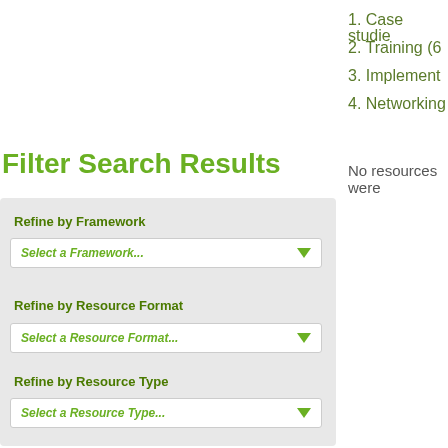1. Case studie
2. Training (6
3. Implement
4. Networking
No resources were
Filter Search Results
Refine by Framework
Select a Framework...
Refine by Resource Format
Select a Resource Format...
Refine by Resource Type
Select a Resource Type...